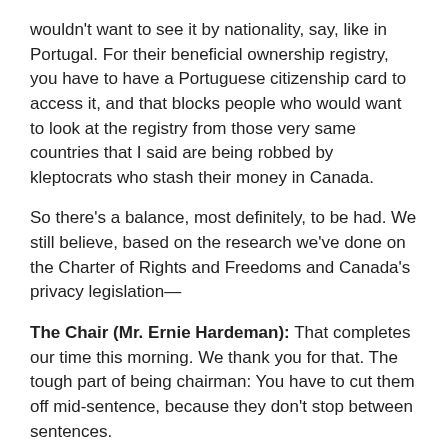wouldn't want to see it by nationality, say, like in Portugal. For their beneficial ownership registry, you have to have a Portuguese citizenship card to access it, and that blocks people who would want to look at the registry from those very same countries that I said are being robbed by kleptocrats who stash their money in Canada.
So there's a balance, most definitely, to be had. We still believe, based on the research we've done on the Charter of Rights and Freedoms and Canada's privacy legislation—
The Chair (Mr. Ernie Hardeman): That completes our time this morning. We thank you for that. The tough part of being chairman: You have to cut them off mid-sentence, because they don't stop between sentences.
We thank you all, all the delegations, all three, this morning, for your presentations. It's quite helpful, and we appreciate that.
With that, further committee will recess until 1 o'clock...